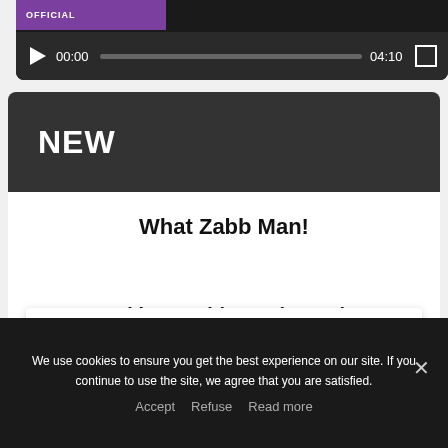[Figure (screenshot): Video player with purple OFFICIAL label, play button showing 00:00 / 04:10 with progress bar and fullscreen button on dark background]
NEW
What Zabb Man!
Baekhyun with another solo
Privacy & Cookies: This site uses cookies. By continuing to use this website, you agree to their use.
To find out more, including how to control cookies, see here: Cookie
We use cookies to ensure you get the best experience on our site. If you continue to use the site, we agree that you are satisfied.
Accept   Refuse   Read more